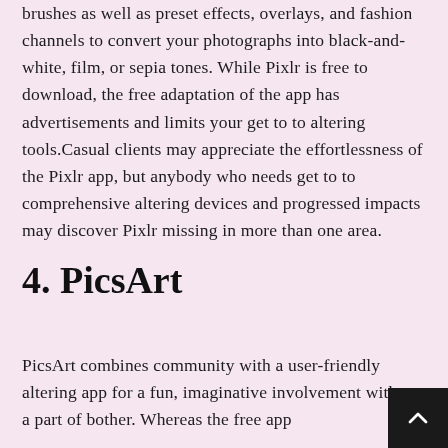brushes as well as preset effects, overlays, and fashion channels to convert your photographs into black-and-white, film, or sepia tones. While Pixlr is free to download, the free adaptation of the app has advertisements and limits your get to to altering tools.Casual clients may appreciate the effortlessness of the Pixlr app, but anybody who needs get to to comprehensive altering devices and progressed impacts may discover Pixlr missing in more than one area.
4. PicsArt
PicsArt combines community with a user-friendly altering app for a fun, imaginative involvement without a part of bother. Whereas the free app